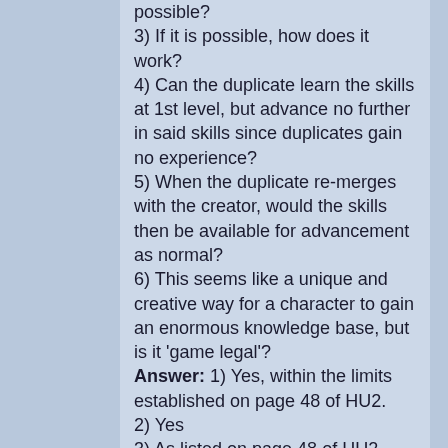possible? 3) If it is possible, how does it work? 4) Can the duplicate learn the skills at 1st level, but advance no further in said skills since duplicates gain no experience? 5) When the duplicate re-merges with the creator, would the skills then be available for advancement as normal? 6) This seems like a unique and creative way for a character to gain an enormous knowledge base, but is it 'game legal'? Answer: 1) Yes, within the limits established on page 48 of HU2. 2) Yes 3) As listed on page 48 of HU2. 4) Yes, they're limited ot first level skills. 5) Yes. 6) Yes, though there are some limits that would and/or should be imposed. The character wouldn't